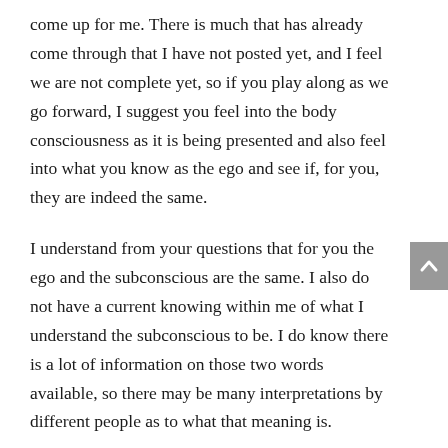come up for me. There is much that has already come through that I have not posted yet, and I feel we are not complete yet, so if you play along as we go forward, I suggest you feel into the body consciousness as it is being presented and also feel into what you know as the ego and see if, for you, they are indeed the same.
I understand from your questions that for you the ego and the subconscious are the same. I also do not have a current knowing within me of what I understand the subconscious to be. I do know there is a lot of information on those two words available, so there may be many interpretations by different people as to what that meaning is.